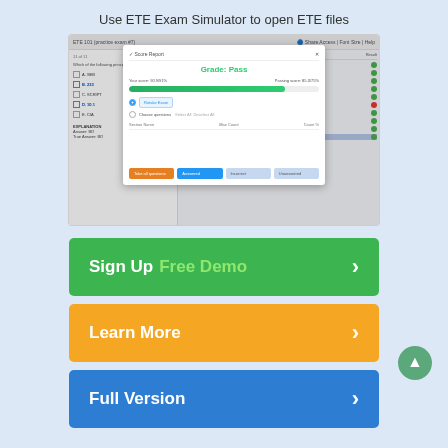Use ETE Exam Simulator to open ETE files
[Figure (screenshot): Screenshot of ETE Exam Simulator software showing a quiz question with multiple choice options on the left panel, a Score Report modal dialog in the center showing 'Grade: Pass', a green progress bar, retake options, and a results panel on the right with green and red dots indicating correct/incorrect answers.]
[Figure (other): Green button: Sign Up Free Demo with right arrow]
[Figure (other): Orange button: Learn More with right arrow]
[Figure (other): Blue button: Full Version with right arrow]